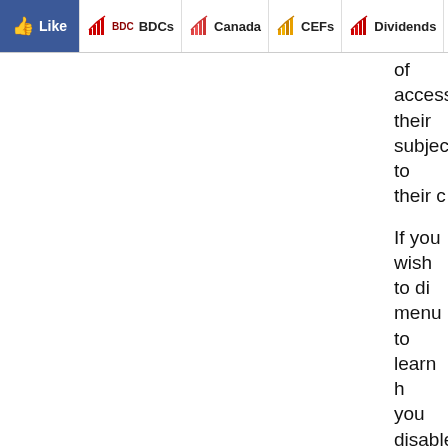Like | BDCs | Canada | CEFs | Dividends | Energy | E...
of access their subject to their c
If you wish to di menu to learn h you disable coo customized feat or contain your
Internet tags, gr functions allow visited a particu We may use we and to recognize able to access o website and im may also includ messages that v messages were collect or contai
How do we sha
Except as descr otherwise discl